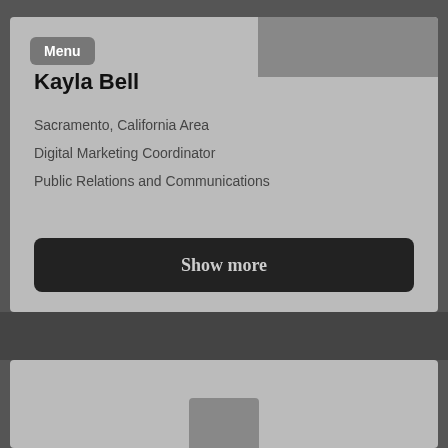Menu
Kayla Bell
Sacramento, California Area
Digital Marketing Coordinator
Public Relations and Communications
Show more
[Figure (photo): Profile photo area placeholder at top of card]
[Figure (photo): Second profile card with partial photo at bottom]